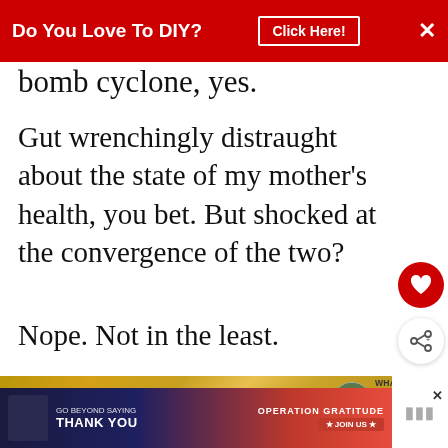[Figure (screenshot): Red banner advertisement: 'Do You Love To DIY? Click Here!' with close button]
bomb cyclone, yes.
Gut wrenchingly distraught about the state of my mother's health, you bet. But shocked at the convergence of the two?
Nope. Not in the least.
[Figure (photo): Close-up of a gold/brass circular object, partially visible]
[Figure (screenshot): Advertisement: 'Go Beyond Saying Thank You - Operation Gratitude - Join Us']
WHAT'S NEXT → Gathering Summer